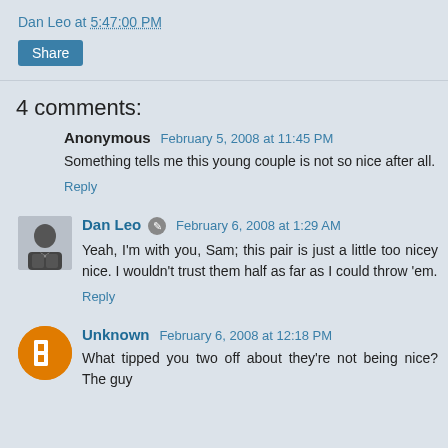Dan Leo at 5:47:00 PM
Share
4 comments:
Anonymous  February 5, 2008 at 11:45 PM
Something tells me this young couple is not so nice after all.
Reply
Dan Leo  February 6, 2008 at 1:29 AM
Yeah, I'm with you, Sam; this pair is just a little too nicey nice. I wouldn't trust them half as far as I could throw 'em.
Reply
Unknown  February 6, 2008 at 12:18 PM
What tipped you two off about they're not being nice? The guy